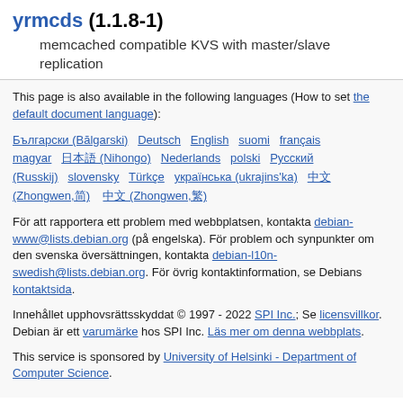yrmcds (1.1.8-1)
memcached compatible KVS with master/slave replication
This page is also available in the following languages (How to set the default document language):
Български (Bălgarski) Deutsch English suomi français magyar 日本語 (Nihongo) Nederlands polski Русский (Russkij) slovensky Türkçe українська (ukrajins'ka) 中文 (Zhongwen,简) 中文 (Zhongwen,繁)
För att rapportera ett problem med webbplatsen, kontakta debian-www@lists.debian.org (på engelska). För problem och synpunkter om den svenska översättningen, kontakta debian-l10n-swedish@lists.debian.org. För övrig kontaktinformation, se Debians kontaktsida.
Innehållet upphovsrättsskyddat © 1997 - 2022 SPI Inc.; Se licensvillkor. Debian är ett varumärke hos SPI Inc. Läs mer om denna webbplats.
This service is sponsored by University of Helsinki - Department of Computer Science.